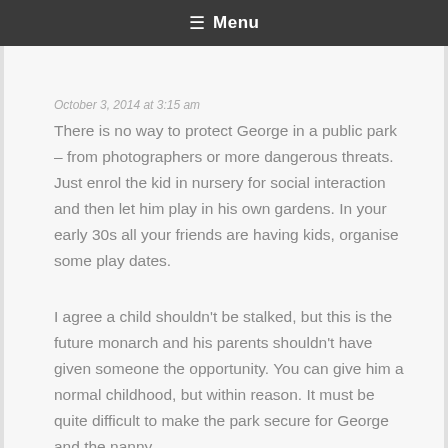≡ Menu
October 3, 2014 at 3:15 am
There is no way to protect George in a public park – from photographers or more dangerous threats. Just enrol the kid in nursery for social interaction and then let him play in his own gardens. In your early 30s all your friends are having kids, organise some play dates.
I agree a child shouldn't be stalked, but this is the future monarch and his parents shouldn't have given someone the opportunity. You can give him a normal childhood, but within reason. It must be quite difficult to make the park secure for George and the nanny.